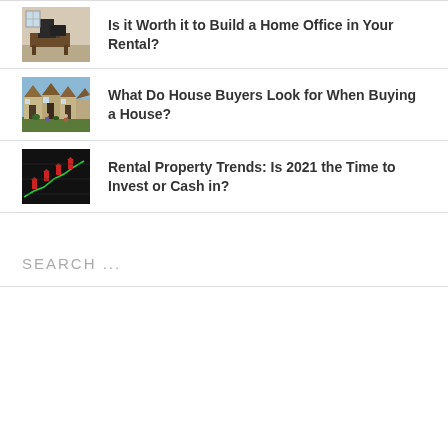[Figure (photo): Home office with desk and chair]
Is it Worth it to Build a Home Office in Your Rental?
[Figure (photo): Row of terraced houses with people outside]
What Do House Buyers Look for When Buying a House?
[Figure (photo): Dark background with red stock chart arrows and graph lines]
Rental Property Trends: Is 2021 the Time to Invest or Cash in?
SEARCH ...